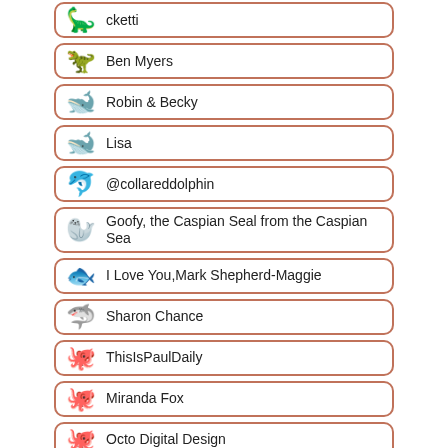cketti
Ben Myers
Robin & Becky
Lisa
@collareddolphin
Goofy, the Caspian Seal from the Caspian Sea
I Love You,Mark Shepherd-Maggie
Sharon Chance
ThisIsPaulDaily
Miranda Fox
Octo Digital Design
coral dot shoes